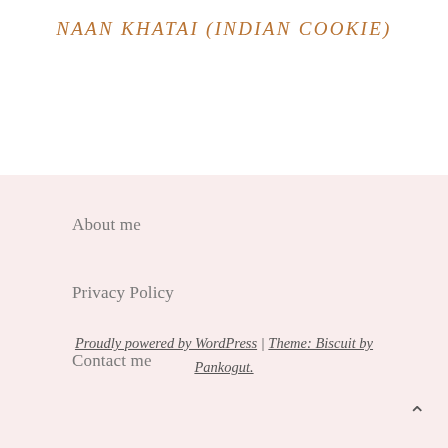NAAN KHATAI (INDIAN COOKIE)
About me
Privacy Policy
Contact me
Proudly powered by WordPress | Theme: Biscuit by Pankogut.